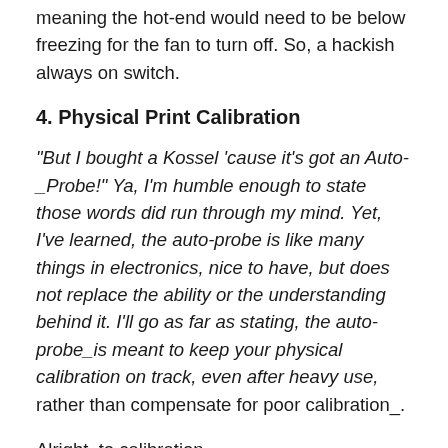meaning the hot-end would need to be below freezing for the fan to turn off. So, a hackish always on switch.
4. Physical Print Calibration
“But I bought a Kossel ‘cause it’s got an Auto-_Probe!” Ya, I’m humble enough to state those words did run through my mind. Yet, I’ve learned, the auto-probe is like many things in electronics, nice to have, but does not replace the ability or the understanding behind it. I’ll go as far as stating, the auto-probe_is meant to keep your physical calibration on track, even after heavy use, rather than compensate for poor calibration_.
Alright, to calibration.
I couldn’t find any Kossel Mini specific guides on how to calibrate the machine, but I found a lot of scattered